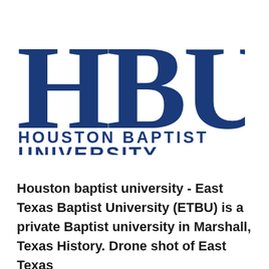[Figure (logo): Houston Baptist University (HBU) logo — large blue serif letters 'HBU' above the text 'HOUSTON BAPTIST UNIVERSITY' in blue sans-serif capitals]
Houston baptist university - East Texas Baptist University (ETBU) is a private Baptist university in Marshall, Texas History. Drone shot of East Texas